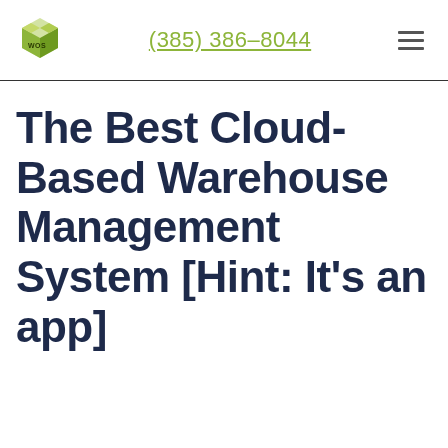(385) 386-8044
[Figure (logo): WOS brand logo — a green open box shape with 'WOS' text]
The Best Cloud-Based Warehouse Management System [Hint: It's an app]